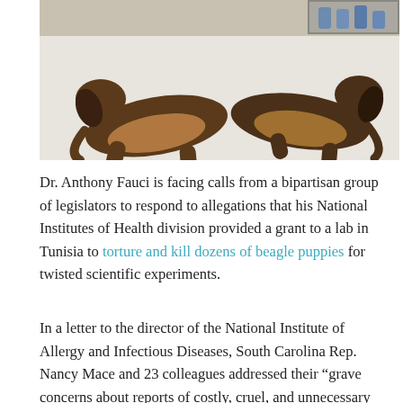[Figure (photo): Photo of two beagle puppies lying on a white surface, appearing sedated or restrained, in what appears to be a laboratory setting.]
Dr. Anthony Fauci is facing calls from a bipartisan group of legislators to respond to allegations that his National Institutes of Health division provided a grant to a lab in Tunisia to torture and kill dozens of beagle puppies for twisted scientific experiments.
In a letter to the director of the National Institute of Allergy and Infectious Diseases, South Carolina Rep. Nancy Mace and 23 colleagues addressed their "grave concerns about reports of costly, cruel, and unnecessary taxpayer-funded